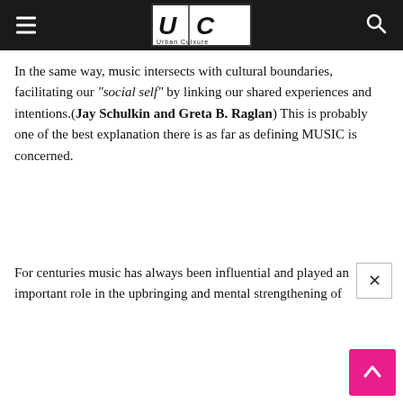Urban Culxure (logo)
In the same way, music intersects with cultural boundaries, facilitating our “social self” by linking our shared experiences and intentions.(Jay Schulkin and Greta B. Raglan) This is probably one of the best explanation there is as far as defining MUSIC is concerned.
For centuries music has always been influential and played an important role in the upbringing and mental strengthening of...